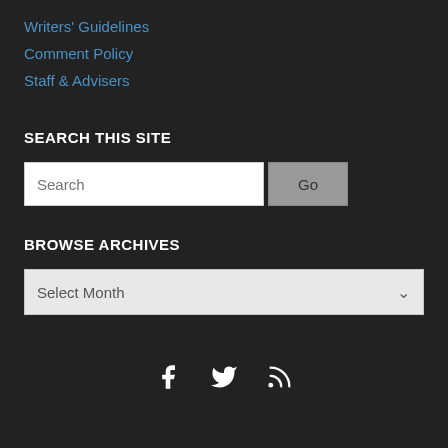Writers' Guidelines
Comment Policy
Staff & Advisers
SEARCH THIS SITE
BROWSE ARCHIVES
[Figure (other): Social media icons: Facebook, Twitter, RSS feed]